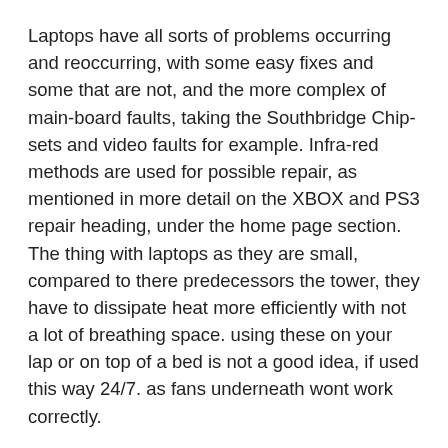Laptops have all sorts of problems occurring and reoccurring, with some easy fixes and some that are not, and the more complex of main-board faults, taking the Southbridge Chip-sets and video faults for example. Infra-red methods are used for possible repair, as mentioned in more detail on the XBOX and PS3 repair heading, under the home page section. The thing with laptops as they are small, compared to there predecessors the tower, they have to dissipate heat more efficiently with not a lot of breathing space. using these on your lap or on top of a bed is not a good idea, if used this way 24/7. as fans underneath wont work correctly.
For longevity always use on a flat surface and avoid the above, which most of us won't. So if you are experiencing lockups (hanging) etc, maybe it needs servicing. So when is a laptop running to hot?, generally what would be experienced is erratic behaviour, system lock ups or